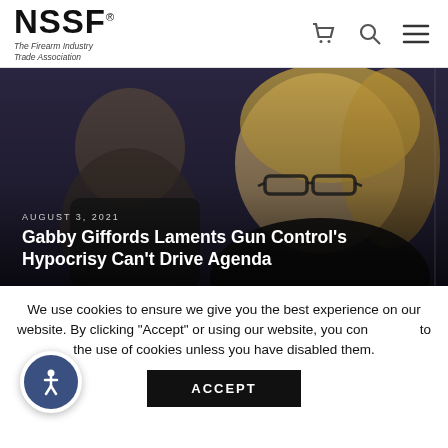NSSF – The Firearm Industry Trade Association
[Figure (photo): Two people in a dark setting; a blond woman wearing glasses is prominent in the foreground, a man is visible in the background. Overlay text reads: AUGUST 3, 2021 / Gabby Giffords Laments Gun Control's Hypocrisy Can't Drive Agenda]
Gabby Giffords Laments Gun Control's Hypocrisy Can't Drive Agenda
We use cookies to ensure we give you the best experience on our website. By clicking "Accept" or using our website, you consent to the use of cookies unless you have disabled them.
ACCEPT